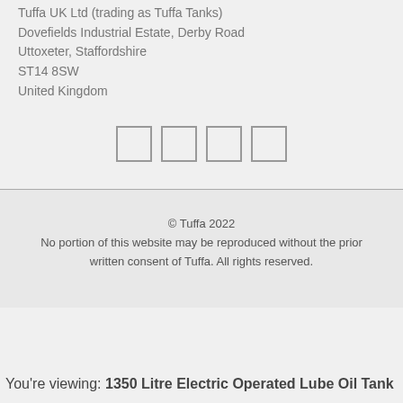Tuffa UK Ltd (trading as Tuffa Tanks)
Dovefields Industrial Estate, Derby Road
Uttoxeter, Staffordshire
ST14 8SW
United Kingdom
[Figure (other): Four empty square social media icon placeholders arranged horizontally]
© Tuffa 2022
No portion of this website may be reproduced without the prior written consent of Tuffa. All rights reserved.
You're viewing: 1350 Litre Electric Operated Lube Oil Tank